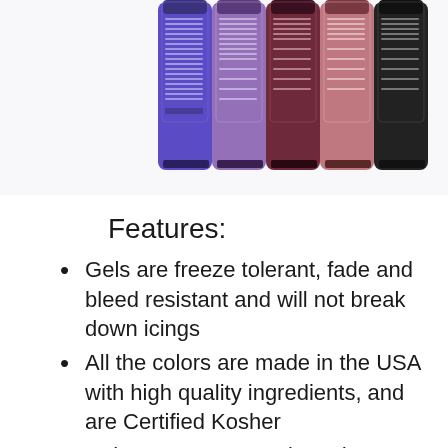[Figure (photo): Five squeeze bottles of gel food coloring shown from behind, displaying ingredient labels. Colors from left to right appear to be blue/purple, purple, dark maroon/burgundy, pink/mauve, peach/salmon, and black. Bottles have black caps and are arranged in a row against a white background.]
Features:
Gels are freeze tolerant, fade and bleed resistant and will not break down icings
All the colors are made in the USA with high quality ingredients, and are Certified Kosher
Colors are easy to mix and disperse instantly. Gels come in queeze bottles with flip-